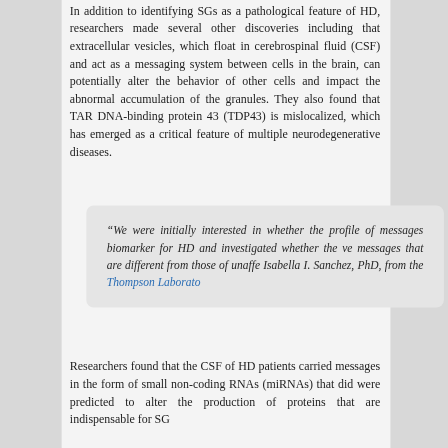In addition to identifying SGs as a pathological feature of HD, researchers made several other discoveries including that extracellular vesicles, which float in cerebrospinal fluid (CSF) and act as a messaging system between cells in the brain, can potentially alter the behavior of other cells and impact the abnormal accumulation of the granules. They also found that TAR DNA-binding protein 43 (TDP43) is mislocalized, which has emerged as a critical feature of multiple neurodegenerative diseases.
“We were initially interested in whether the profile of messages biomarker for HD and investigated whether the ve messages that are different from those of unaffe Isabella I. Sanchez, PhD, from the Thompson Laborato
Researchers found that the CSF of HD patients carried messages in the form of small non-coding RNAs (miRNAs) that did were predicted to alter the production of proteins that are indispensable for SG